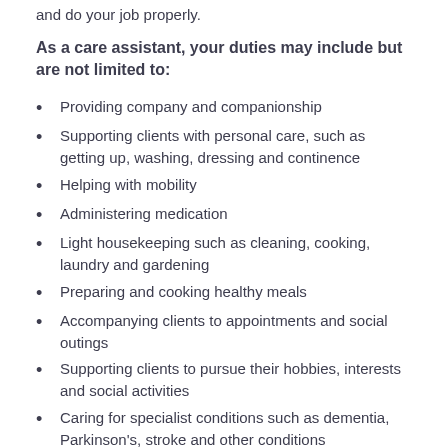and do your job properly.
As a care assistant, your duties may include but are not limited to:
Providing company and companionship
Supporting clients with personal care, such as getting up, washing, dressing and continence
Helping with mobility
Administering medication
Light housekeeping such as cleaning, cooking, laundry and gardening
Preparing and cooking healthy meals
Accompanying clients to appointments and social outings
Supporting clients to pursue their hobbies, interests and social activities
Caring for specialist conditions such as dementia, Parkinson's, stroke and other conditions